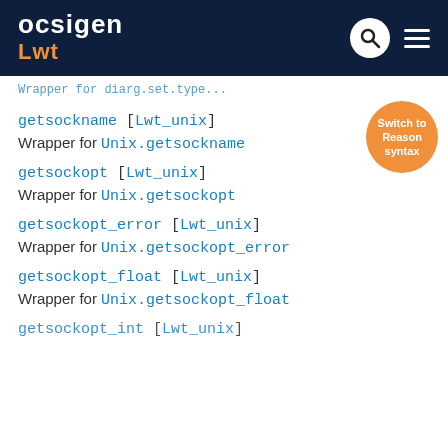Ocsigen Lwt
Wrapper for diarg.set.type... (truncated link)
getsockname [Lwt_unix]
Wrapper for Unix.getsockname
getsockopt [Lwt_unix]
Wrapper for Unix.getsockopt
getsockopt_error [Lwt_unix]
Wrapper for Unix.getsockopt_error
getsockopt_float [Lwt_unix]
Wrapper for Unix.getsockopt_float
getsockopt_int [Lwt_unix]